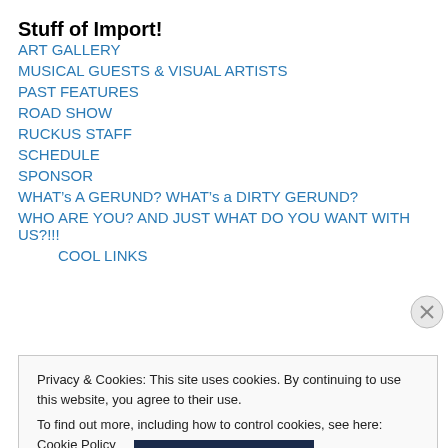Stuff of Import!
ART GALLERY
MUSICAL GUESTS & VISUAL ARTISTS
PAST FEATURES
ROAD SHOW
RUCKUS STAFF
SCHEDULE
SPONSOR
WHAT’s A GERUND? WHAT’s a DIRTY GERUND?
WHO ARE YOU? AND JUST WHAT DO YOU WANT WITH US?!!!
COOL LINKS
Privacy & Cookies: This site uses cookies. By continuing to use this website, you agree to their use.
To find out more, including how to control cookies, see here: Cookie Policy
Close and accept